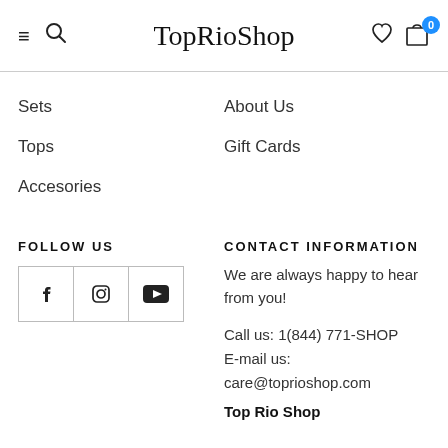TopRioShop
Sets
Tops
Accesories
About Us
Gift Cards
FOLLOW US
[Figure (other): Social media icon buttons for Facebook, Instagram, and YouTube in bordered boxes]
CONTACT INFORMATION
We are always happy to hear from you!
Call us: 1(844) 771-SHOP
E-mail us:
care@toprioshop.com
Top Rio Shop